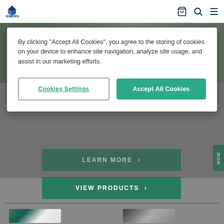[Figure (screenshot): Emerson website header with logo, cart icon, search icon, and hamburger menu icon on white background]
By clicking “Accept All Cookies”, you agree to the storing of cookies on your device to enhance site navigation, analyze site usage, and assist in our marketing efforts.
Cookies Settings
Accept All Cookies
[Figure (screenshot): Emerson website background with dark teal LEARN MORE and VIEW PRODUCTS buttons, a NOW side tab, and a horizontal divider above bottom product image thumbnails]